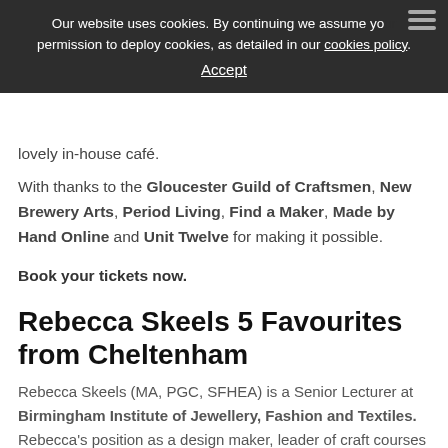Our website uses cookies. By continuing we assume your permission to deploy cookies, as detailed in our cookies policy. Accept
lovely in-house café.
With thanks to the Gloucester Guild of Craftsmen, New Brewery Arts, Period Living, Find a Maker, Made by Hand Online and Unit Twelve for making it possible.
Book your tickets now.
Rebecca Skeels 5 Favourites from Cheltenham
Rebecca Skeels (MA, PGC, SFHEA) is a Senior Lecturer at Birmingham Institute of Jewellery, Fashion and Textiles. Rebecca's position as a design maker, leader of craft courses and as an active member of the UK's craft industry, provides her with a unique perspective on education and requirements for the future of 'the crafts'.
"So to choose 5 favourites from Craft Festival Cheltenham, by just heading over to the website. Who can do that?! I started